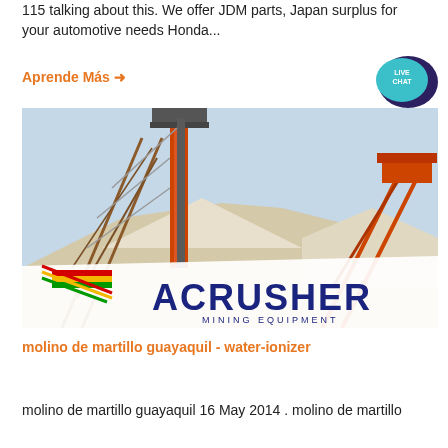115 talking about this. We offer JDM parts, Japan surplus for your automotive needs Honda...
Aprende Más →
[Figure (photo): Industrial mining/crushing facility with conveyor belts and structural towers, featuring ACRUSHER MINING EQUIPMENT branding with Bolivian flag colors]
molino de martillo guayaquil - water-ionizer
molino de martillo guayaquil 16 May 2014 . molino de martillo